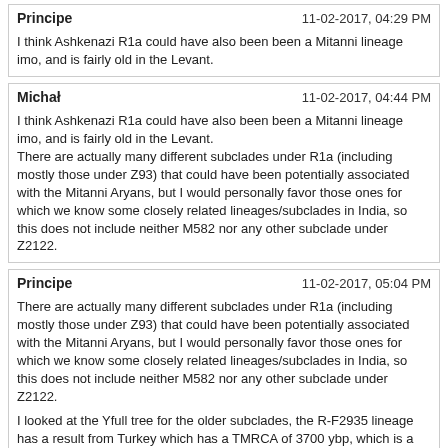Principe  11-02-2017, 04:29 PM
I think Ashkenazi R1a could have also been been a Mitanni lineage imo, and is fairly old in the Levant.
Michał  11-02-2017, 04:44 PM
I think Ashkenazi R1a could have also been been a Mitanni lineage imo, and is fairly old in the Levant.
There are actually many different subclades under R1a (including mostly those under Z93) that could have been potentially associated with the Mitanni Aryans, but I would personally favor those ones for which we know some closely related lineages/subclades in India, so this does not include neither M582 nor any other subclade under Z2122.
Principe  11-02-2017, 05:04 PM
There are actually many different subclades under R1a (including mostly those under Z93) that could have been potentially associated with the Mitanni Aryans, but I would personally favor those ones for which we know some closely related lineages/subclades in India, so this does not include neither M582 nor any other subclade under Z2122.

I looked at the Yfull tree for the older subclades, the R-F2935 lineage has a result from Turkey which has a TMRCA of 3700 ybp, which is a little earlier than when the Mitanni came to the area, I think it's possible that maybe M582 could have been a minor lineage of the Mitanni?
Humanist  11-03-2017, 12:15 AM
Would love to see a further analysis of the Assyrian J1-Z1828 sample, GRC15491782.
Rethel  11-19-2017, 04:40 PM